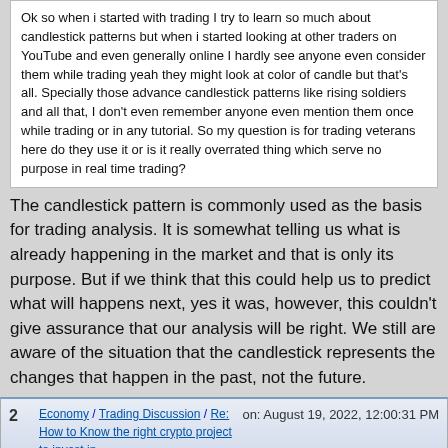Ok so when i started with trading I try to learn so much about candlestick patterns but when i started looking at other traders on YouTube and even generally online I hardly see anyone even consider them while trading yeah they might look at color of candle but that's all. Specially those advance candlestick patterns like rising soldiers and all that, I don't even remember anyone even mention them once while trading or in any tutorial. So my question is for trading veterans here do they use it or is it really overrated thing which serve no purpose in real time trading?
The candlestick pattern is commonly used as the basis for trading analysis. It is somewhat telling us what is already happening in the market and that is only its purpose. But if we think that this could help us to predict what will happens next, yes it was, however, this couldn't give assurance that our analysis will be right. We still are aware of the situation that the candlestick represents the changes that happen in the past, not the future.
2  Economy / Trading Discussion / Re: How to Know the right crypto project to invest in  on: August 19, 2022, 12:00:31 PM
Quote from: Agwu on August 12, 2022, 10:41:30 AM